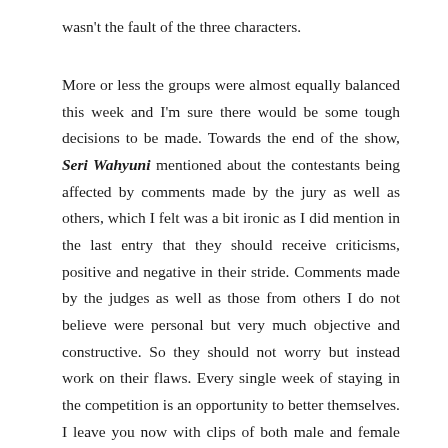wasn't the fault of the three characters.
More or less the groups were almost equally balanced this week and I'm sure there would be some tough decisions to be made. Towards the end of the show, Seri Wahyuni mentioned about the contestants being affected by comments made by the jury as well as others, which I felt was a bit ironic as I did mention in the last entry that they should receive criticisms, positive and negative in their stride. Comments made by the judges as well as those from others I do not believe were personal but very much objective and constructive. So they should not worry but instead work on their flaws. Every single week of staying in the competition is an opportunity to better themselves. I leave you now with clips of both male and female contestants from Group B, promoting their voting codes for this week.